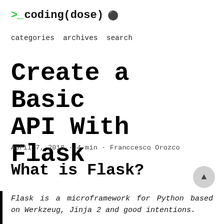>_ coding(dose) ☽
categories archives search
Create a Basic API With Flask
April 7, 2018 · 4 min · Franccesco Orozco
What is Flask?
Flask is a microframework for Python based on Werkzeug, Jinja 2 and good intentions.